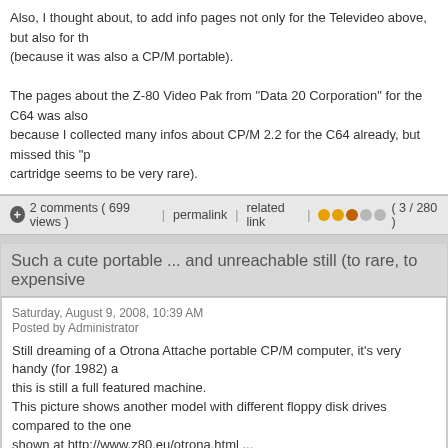Also, I thought about, to add info pages not only for the Televideo above, but also for the (because it was also a CP/M portable).
The pages about the Z-80 Video Pak from "Data 20 Corporation" for the C64 was also because I collected many infos about CP/M 2.2 for the C64 already, but missed this "p cartridge seems to be very rare).
2 comments ( 699 views )  |  permalink  |  related link  |  ( 3 / 280 )
Such a cute portable ... and unreachable still (to rare, to expensive
Saturday, August 9, 2008, 10:39 AM
Posted by Administrator
Still dreaming of a Otrona Attache portable CP/M computer, it's very handy (for 1982) a this is still a full featured machine.
This picture shows another model with different floppy disk drives compared to the one shown at http://www.z80.eu/otrona.html ...
I have seen a few in Ebay shops in the US, but they are really expensive (up to $ 400) what I looked for unfortunately.
But still, it's amazing to see such one and dream ...
[Figure (photo): Photo of an Otrona Attache portable CP/M computer, cream/white colored portable computer with a built-in CRT screen showing green text and floppy disk drives]